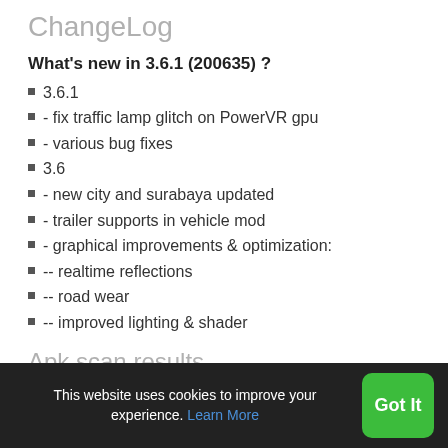ChangeLog
What's new in 3.6.1 (200635) ?
3.6.1
- fix traffic lamp glitch on PowerVR gpu
- various bug fixes
3.6
- new city and surabaya updated
- trailer supports in vehicle mod
- graphical improvements & optimization:
-- realtime reflections
-- road wear
-- improved lighting & shader
Apk scan results
Apk Scaned By TotalVirus Antivirus,com.maleo.buss:
This website uses cookies to improve your experience. Learn More